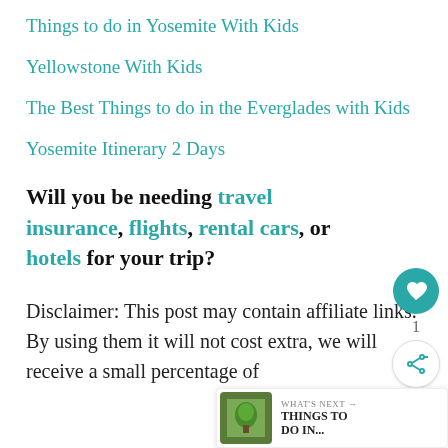Things to do in Yosemite With Kids
Yellowstone With Kids
The Best Things to do in the Everglades with Kids
Yosemite Itinerary 2 Days
Will you be needing travel insurance, flights, rental cars, or hotels for your trip?
Disclaimer: This post may contain affiliate links. By using them it will not cost extra, we will receive a small percentage of